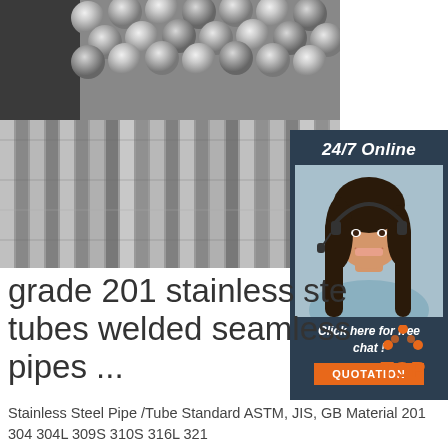[Figure (photo): Stainless steel round bars/tubes stacked together, metallic silver color, viewed from the ends showing circular cross-sections]
[Figure (photo): 24/7 online customer service agent - woman with headset smiling, with dark header reading '24/7 Online', orange QUOTATION button and 'Click here for free chat!' text]
grade 201 stainless steel tubes welded seamless pipes ...
[Figure (logo): TOP logo - orange triangle/house shape with dots and word TOP in orange]
Stainless Steel Pipe /Tube Standard ASTM, JIS, GB Material 201 304 304L 309S 310S 316L 321